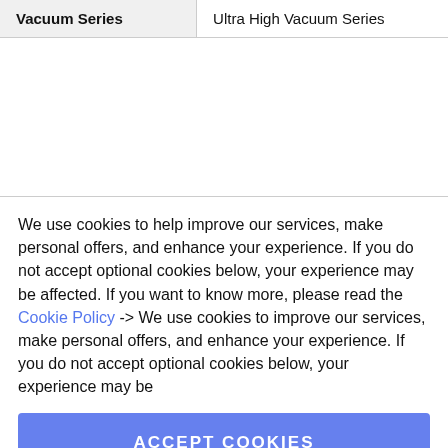| Vacuum Series | Ultra High Vacuum Series |
| --- | --- |
We use cookies to help improve our services, make personal offers, and enhance your experience. If you do not accept optional cookies below, your experience may be affected. If you want to know more, please read the Cookie Policy -> We use cookies to improve our services, make personal offers, and enhance your experience. If you do not accept optional cookies below, your experience may be
ACCEPT COOKIES
CUSTOM SETTINGS